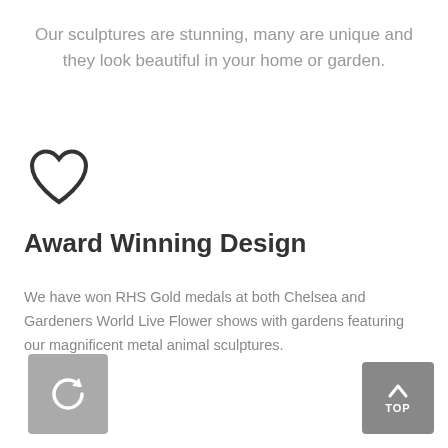Our sculptures are stunning, many are unique and they look beautiful in your home or garden.
[Figure (illustration): Heart icon outline in dark gray]
Award Winning Design
We have won RHS Gold medals at both Chelsea and Gardeners World Live Flower shows with gardens featuring our magnificent metal animal sculptures.
[Figure (illustration): Gray square button with a reload/refresh circular arrow icon in white]
[Figure (illustration): Gray square button with an up arrow and the text TOP in white]